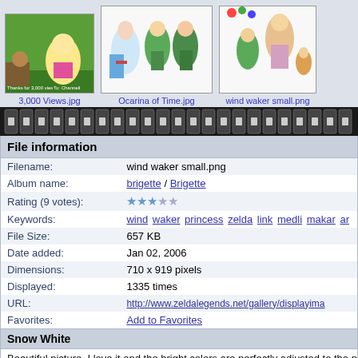[Figure (screenshot): Three thumbnail images from a Zelda fan gallery: '3,000 Views.jpg' showing Princess Zelda in a green scene, 'Ocarina of Time.jpg' showing multiple Zelda characters, and 'wind waker small.png' showing characters from Wind Waker.]
[Figure (photo): Film strip / navigation bar with dark background and small thumbnail cells]
| Filename: | wind waker small.png |
| Album name: | brigette / Brigette |
| Rating (9 votes): | ★★★☆☆ |
| Keywords: | wind waker princess zelda link medli makar ar... |
| File Size: | 657 KB |
| Date added: | Jan 02, 2006 |
| Dimensions: | 710 x 919 pixels |
| Displayed: | 1335 times |
| URL: | http://www.zeldalegends.net/gallery/displayima... |
| Favorites: | Add to Favorites |
Snow White
Beautiful picture, I love it and the bright colors are perfectly adjusted to the p... do it with photoshop
2of7